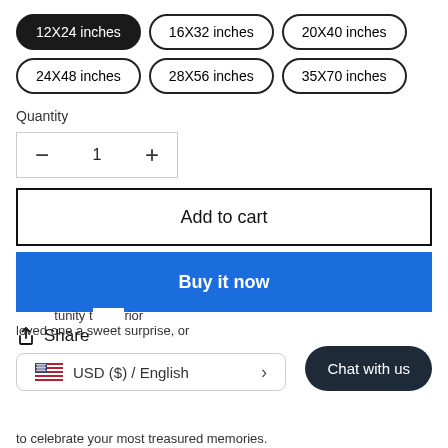12X24 inches (selected), 16X32 inches, 20X40 inches, 24X48 inches, 28X56 inches, 35X70 inches
Quantity
− 1 +
Add to cart
Buy it now
Share
USD ($) / English
Chat with us
tunity t...rior loved one a sweet surprise, or to celebrate your most treasured memories.